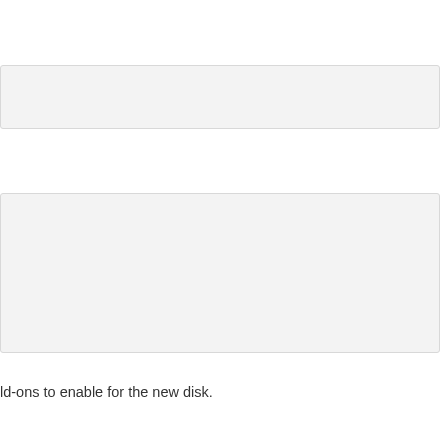[Figure (screenshot): A small light gray input box or form field, partially visible at top of page]
[Figure (screenshot): A larger light gray input box or text area form field]
ld-ons to enable for the new disk.
partially visible text line at bottom